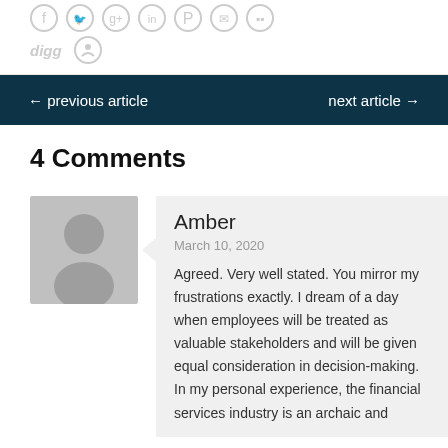[Figure (other): Social media sharing icons (Facebook, Twitter, Google+, LinkedIn, Pinterest, Email, more) and below: digg icon and Reddit icon, all in light gray]
← previous article    next article →
4 Comments
[Figure (photo): Gray default avatar silhouette placeholder image]
Amber
March 10, 2020
Agreed. Very well stated. You mirror my frustrations exactly. I dream of a day when employees will be treated as valuable stakeholders and will be given equal consideration in decision-making. In my personal experience, the financial services industry is an archaic and